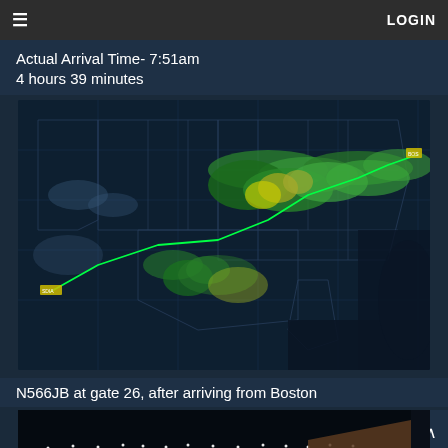≡  LOGIN
Actual Arrival Time- 7:51am
4 hours 39 minutes
[Figure (map): Flight tracking map showing a green flight path across the United States from the southwest to the northeast coast, with weather radar overlay showing green and yellow storm cells across the mid-Atlantic and northeastern states.]
N566JB at gate 26, after arriving from Boston
[Figure (photo): Nighttime airport tarmac photo showing lights and what appears to be an aircraft or gate area.]